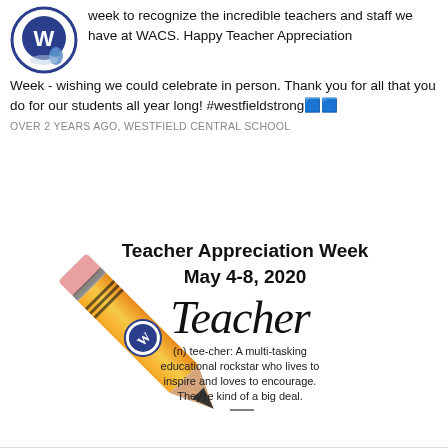[Figure (logo): WACS school logo - circular blue border with W letter and water droplet]
week to recognize the incredible teachers and staff we have at WACS. Happy Teacher Appreciation Week - wishing we could celebrate in person. Thank you for all that you do for our students all year long! #westfieldstrong
OVER 2 YEARS AGO, WESTFIELD CENTRAL SCHOOL
[Figure (illustration): Teacher Appreciation Week May 4-8, 2020 graphic with a pencil illustration and the word Teacher in script with definition: (n) tee-cher: A multi-tasking educational rockstar who lives to inspire and loves to encourage. They're kind of a big deal.]